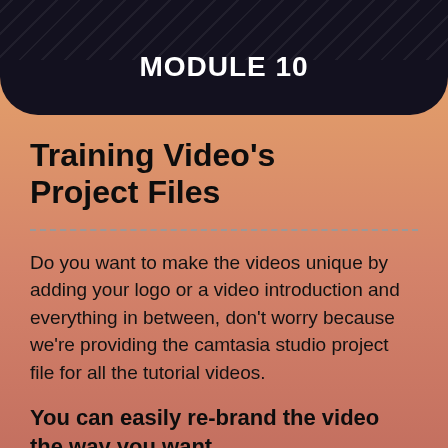MODULE 10
Training Video's Project Files
Do you want to make the videos unique by adding your logo or a video introduction and everything in between, don't worry because we're providing the camtasia studio project file for all the tutorial videos.
You can easily re-brand the video the way you want.